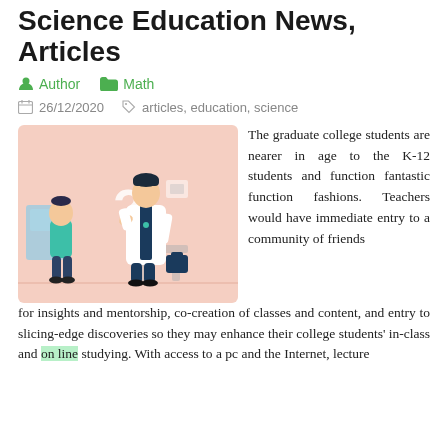Science Education News, Articles
Author   Math
26/12/2020   articles, education, science
[Figure (illustration): Illustration of a doctor in white coat and a child, with a question mark and medical/school symbols on a peach/pink background]
The graduate college students are nearer in age to the K-12 students and function fantastic function fashions. Teachers would have immediate entry to a community of friends for insights and mentorship, co-creation of classes and content, and entry to slicing-edge discoveries so they may enhance their college students' in-class and on line studying. With access to a pc and the Internet, lecture